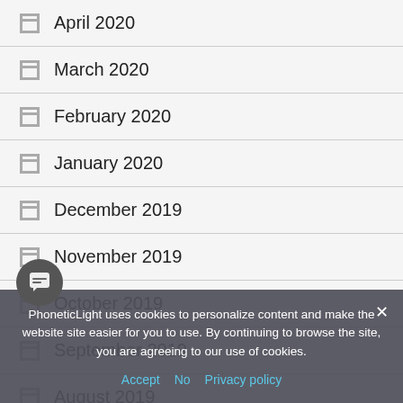April 2020
March 2020
February 2020
January 2020
December 2019
November 2019
October 2019
September 2019
August 2019
July 2019
PhoneticLight uses cookies to personalize content and make the website site easier for you to use. By continuing to browse the site, you are agreeing to our use of cookies.
Accept  No  Privacy policy